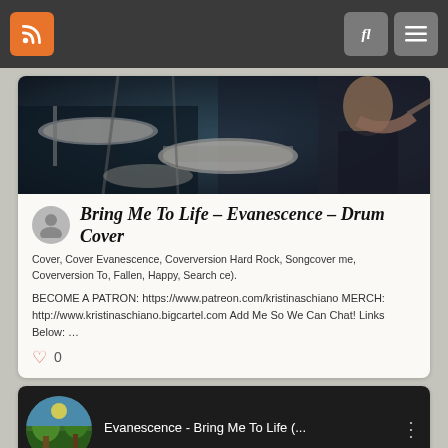[Figure (screenshot): Navigation bar with RSS orange icon button on left and search/menu buttons on right]
[Figure (photo): Drum kit photo - drummer playing drums, dark stage lighting with blue tones, cymbal and snare drum visible]
Bring Me To Life – Evanescence – Drum Cover
Cover, Cover Evanescence, Coverversion Hard Rock, Songcover me, Coverversion To, Fallen, Happy, Search ce).
BECOME A PATRON: https://www.patreon.com/kristinaschiano MERCH: http://www.kristinaschiano.bigcartel.com Add Me So We Can Chat! Links Below: …
0
[Figure (screenshot): YouTube video thumbnail showing Evanescence - Bring Me To Life with channel icon on left and three-dot menu on right]